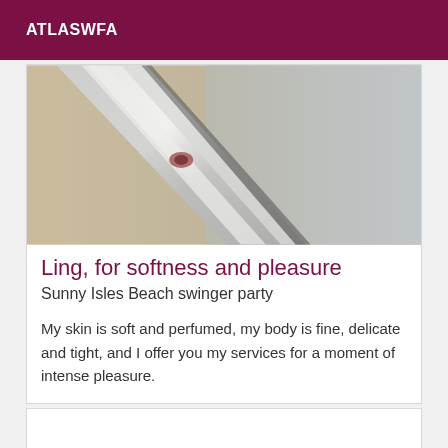ATLASWFA
[Figure (photo): Close-up photo of a metallic rail or frame element, showing chrome/silver metal at an angle against a blurred beige/gray background]
Ling, for softness and pleasure
Sunny Isles Beach swinger party
My skin is soft and perfumed, my body is fine, delicate and tight, and I offer you my services for a moment of intense pleasure.